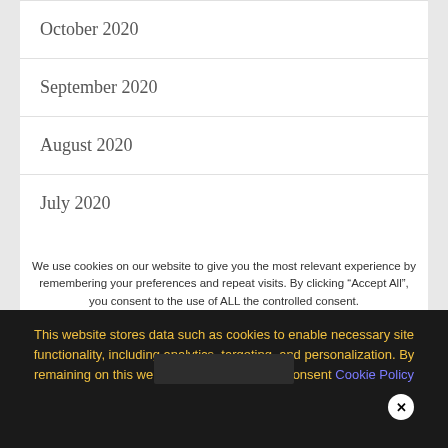October 2020
September 2020
August 2020
July 2020
We use cookies on our website to give you the most relevant experience by remembering your preferences and repeat visits. By clicking “Accept All”, you consent to the use of ALL the controlled consent.
This website stores data such as cookies to enable necessary site functionality, including analytics, targeting, and personalization. By remaining on this website you indicate your consent Cookie Policy